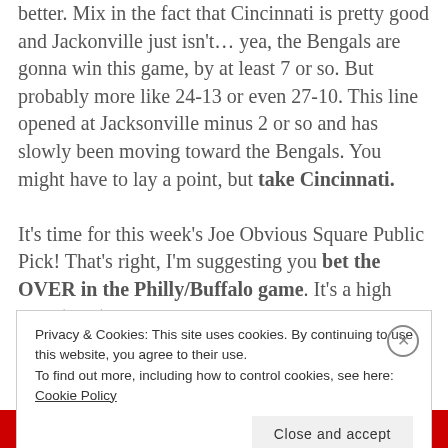better. Mix in the fact that Cincinnati is pretty good and Jackonville just isn't… yea, the Bengals are gonna win this game, by at least 7 or so. But probably more like 24-13 or even 27-10. This line opened at Jacksonville minus 2 or so and has slowly been moving toward the Bengals. You might have to lay a point, but take Cincinnati.
It's time for this week's Joe Obvious Square Public Pick! That's right, I'm suggesting you bet the OVER in the Philly/Buffalo game. It's a high total (51.5) but you know both teams have a good chance of
Privacy & Cookies: This site uses cookies. By continuing to use this website, you agree to their use. To find out more, including how to control cookies, see here: Cookie Policy
Close and accept